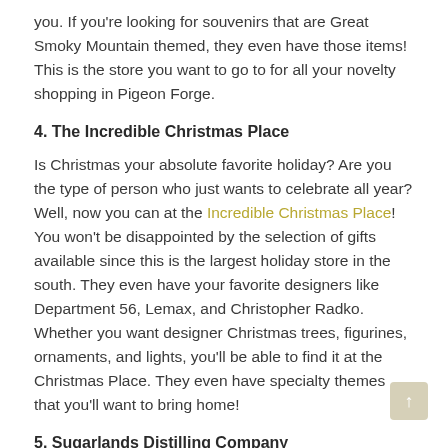you. If you're looking for souvenirs that are Great Smoky Mountain themed, they even have those items! This is the store you want to go to for all your novelty shopping in Pigeon Forge.
4. The Incredible Christmas Place
Is Christmas your absolute favorite holiday? Are you the type of person who just wants to celebrate all year? Well, now you can at the Incredible Christmas Place! You won't be disappointed by the selection of gifts available since this is the largest holiday store in the south. They even have your favorite designers like Department 56, Lemax, and Christopher Radko. Whether you want designer Christmas trees, figurines, ornaments, and lights, you'll be able to find it at the Christmas Place. They even have specialty themes that you'll want to bring home!
5. Sugarlands Distilling Company